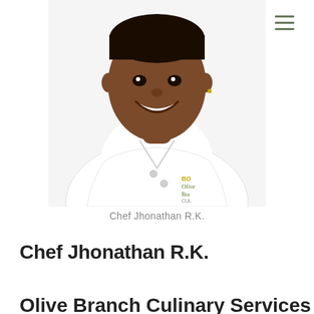[Figure (photo): Portrait photo of Chef Jhonathan R.K. wearing a white chef's coat with Olive Branch Culinary Services logo, smiling.]
Chef Jhonathan R.K.
Chef Jhonathan R.K.
Olive Branch Culinary Services